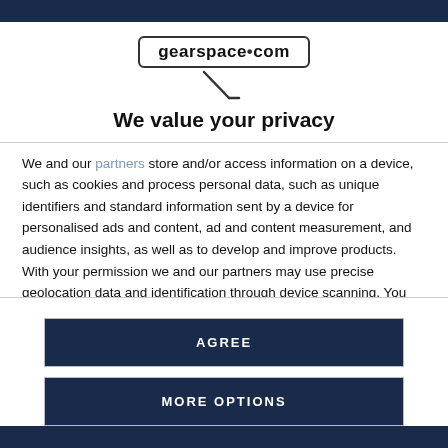gearspace.com
[Figure (logo): gearspace.com logo with rounded rectangle border and microphone cable icon below]
We value your privacy
We and our partners store and/or access information on a device, such as cookies and process personal data, such as unique identifiers and standard information sent by a device for personalised ads and content, ad and content measurement, and audience insights, as well as to develop and improve products. With your permission we and our partners may use precise geolocation data and identification through device scanning. You may click to consent to our and our partners' processing as described above. Alternatively you may access more detailed information and change your preferences before consenting
AGREE
MORE OPTIONS